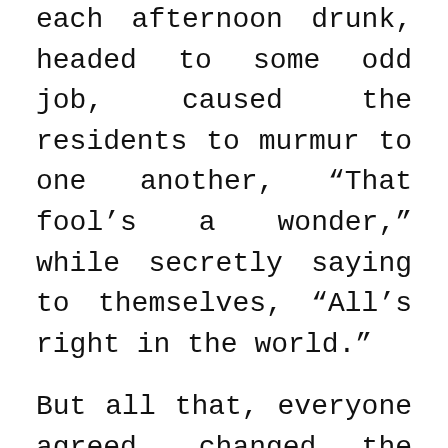each afternoon drunk, headed to some odd job, caused the residents to murmur to one another, “That fool’s a wonder,” while secretly saying to themselves, “All’s right in the world.”
But all that, everyone agreed, changed the day he shot Deems Clemens.
Clemens was the New Breed of colored in the Cause. Deems wasn’t some poor colored boy from down south or Puerto Rico or Barbados who arrived in New York with empty pockets and a Bible and a